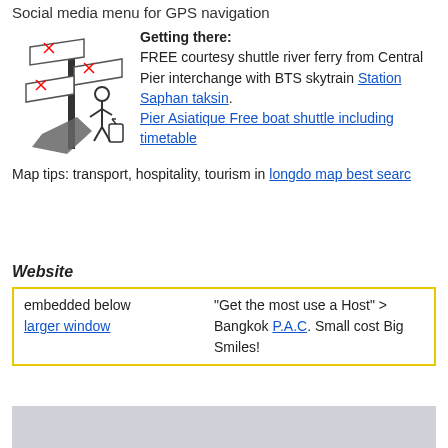Social media menu for GPS navigation
[Figure (illustration): Cartoon illustration of a person with luggage looking at directional signs]
Getting there:
FREE courtesy shuttle river ferry from Central Pier interchange with BTS skytrain Station Saphan taksin.
Pier Asiatique Free boat shuttle including timetable
Map tips: transport, hospitality, tourism in longdo map best searc
Website
embedded below
larger window
"Get the most use a Host" >
Bangkok P.A.C. Small cost Big Smiles!